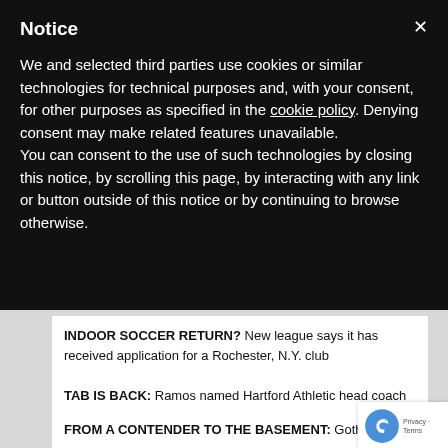Notice
We and selected third parties use cookies or similar technologies for technical purposes and, with your consent, for other purposes as specified in the cookie policy. Denying consent may make related features unavailable.
You can consent to the use of such technologies by closing this notice, by scrolling this page, by interacting with any link or button outside of this notice or by continuing to browse otherwise.
INDOOR SOCCER RETURN? New league says it has received application for a Rochester, N.Y. club
TAB IS BACK: Ramos named Hartford Athletic head coach
FROM A CONTENDER TO THE BASEMENT: Gotham FC trades for Canadian international Pickett